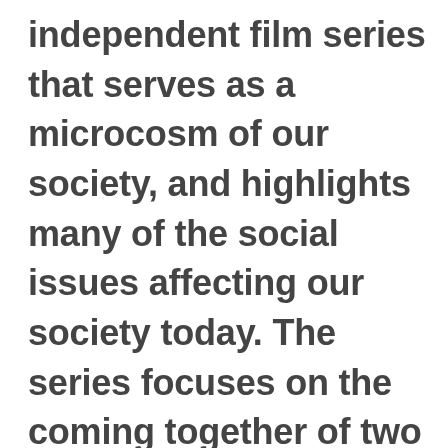independent film series that serves as a microcosm of our society, and highlights many of the social issues affecting our society today. The series focuses on the coming together of two families and two worlds who will discover that the differences that divide us on the surface hide a